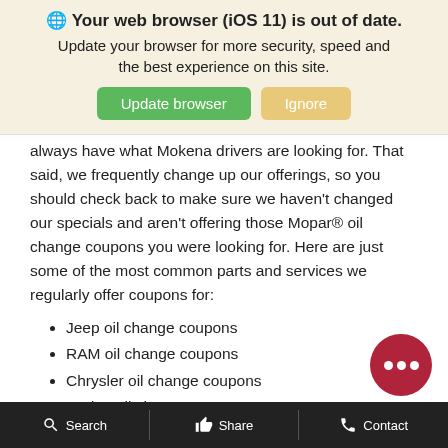🌐 Your web browser (iOS 11) is out of date.
Update your browser for more security, speed and the best experience on this site.
always have what Mokena drivers are looking for. That said, we frequently change up our offerings, so you should check back to make sure we haven't changed our specials and aren't offering those Mopar® oil change coupons you were looking for. Here are just some of the most common parts and services we regularly offer coupons for:
Jeep oil change coupons
RAM oil change coupons
Chrysler oil change coupons
Dodge oil change coupons
Brake repairs
Search   Share   Contact